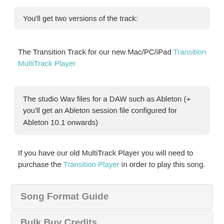You'll get two versions of the track:
The Transition Track for our new Mac/PC/iPad Transition MultiTrack Player
The studio Wav files for a DAW such as Ableton (+ you'll get an Ableton session file configured for Ableton 10.1 onwards)
If you have our old MultiTrack Player you will need to purchase the Transition Player in order to play this song.
Song Format Guide
Bulk Buy Credits